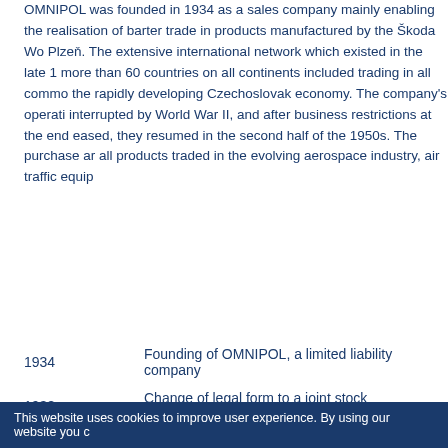OMNIPOL was founded in 1934 as a sales company mainly enabling the realisation of barter trade in products manufactured by the Škoda Works Plzeň. The extensive international network which existed in the late 1 more than 60 countries on all continents included trading in all commo the rapidly developing Czechoslovak economy. The company's operati interrupted by World War II, and after business restrictions at the end eased, they resumed in the second half of the 1950s. The purchase ar all products traded in the evolving aerospace industry, air traffic equip
1934 — Founding of OMNIPOL, a limited liability company
1938 — Change of legal form to a joint stock company
1940 – 1945 — Integration into a German manufacturing concern duri
This website uses cookies to improve user experience. By using our website you c